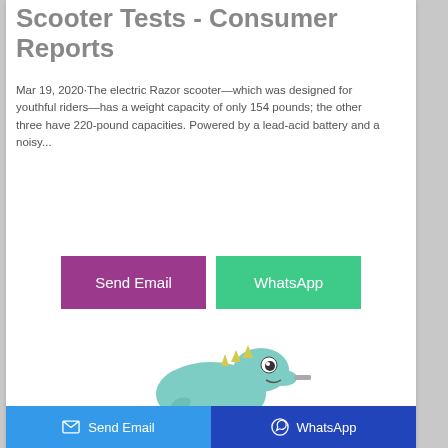Scooter Tests - Consumer Reports
Mar 19, 2020·The electric Razor scooter—which was designed for youthful riders—has a weight capacity of only 154 pounds; the other three have 220-pound capacities. Powered by a lead-acid battery and a noisy...
[Figure (illustration): Two buttons: purple 'Send Email' button and green 'WhatsApp' button]
[Figure (illustration): Cartoon dinosaur plush toy, teal/mint colored with small yellow spines, visible at bottom of page]
Send Email    WhatsApp